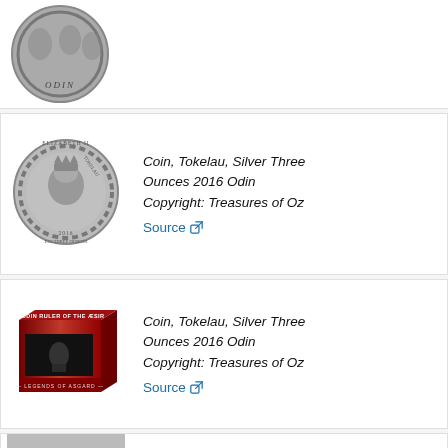[Figure (photo): Top of a silver coin with ODIN inscription, partially visible (cropped at top)]
[Figure (photo): Silver coin showing Queen Elizabeth II portrait with Celtic knotwork border, Tokelau, 2016]
Coin, Tokelau, Silver Three Ounces 2016 Odin Copyright: Treasures of Oz
Source
[Figure (photo): Red and black collector box labeled 'Odin Ruler of the Aesir – Legends of Asgard']
Coin, Tokelau, Silver Three Ounces 2016 Odin Copyright: Treasures of Oz
Source
[Figure (photo): Close-up of coin surface showing chain links with 'Example of serial number' red label overlay]
Coin, Tokelau, Silver Three Ounces 2016 Odin Copyright: Treasures of Oz